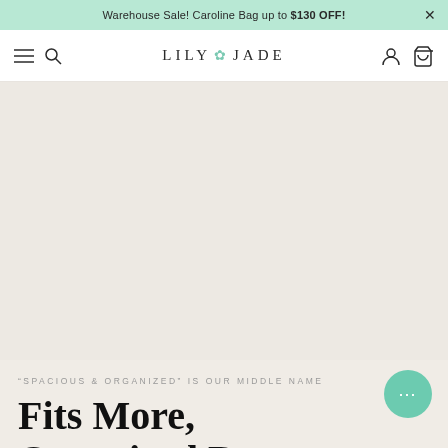Warehouse Sale! Caroline Bag up to $130 OFF!
LILY JADE
[Figure (photo): Large light beige/cream hero image area, mostly blank/empty product background]
“SPACIOUS & ORGANIZED” IS OUR MIDDLE NAME
Fits More, Organized Better